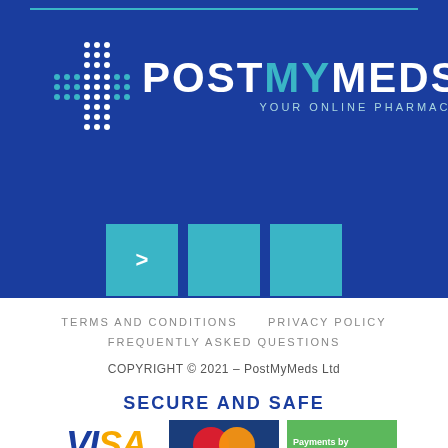[Figure (logo): PostMyMeds logo with teal dot-matrix plus sign and brand name POSTMYMEDS in white and teal on blue background, tagline YOUR ONLINE PHARMACY]
[Figure (infographic): Three teal navigation/pagination buttons, the first showing a right-arrow chevron '>', on blue background]
TERMS AND CONDITIONS    PRIVACY POLICY
FREQUENTLY ASKED QUESTIONS
COPYRIGHT © 2021 – PostMyMeds Ltd
SECURE AND SAFE
[Figure (logo): Visa logo, MasterCard logo, and Payments by green badge with white underline]
VISA
MasterCard
Payments by